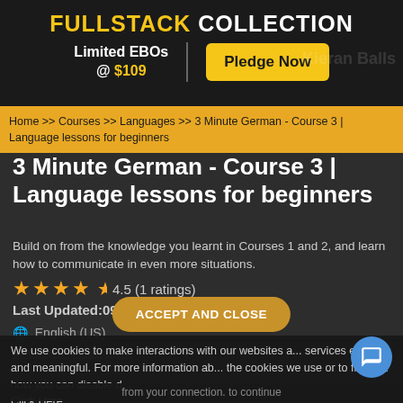[Figure (infographic): Fullstack Collection promotional banner with black background, yellow FULLSTACK text, white COLLECTION text, Limited EBOs @ $109 in white/yellow, and yellow Pledge Now button]
Home >> Courses >> Languages >> 3 Minute German - Course 3 | Language lessons for beginners
3 Minute German - Course 3 | Language lessons for beginners
Build on from the knowledge you learnt in Courses 1 and 2, and learn how to communicate in even more situations.
4.5 (1 ratings)
Last Updated:09/2019
English (US)
Instructor: Kieran Ba...
ACCEPT AND CLOSE
We use cookies to make interactions with our websites a... services easy and meaningful. For more information ab... the cookies we use or to find out how you can disable d... Click Here.
from your connection. to continue